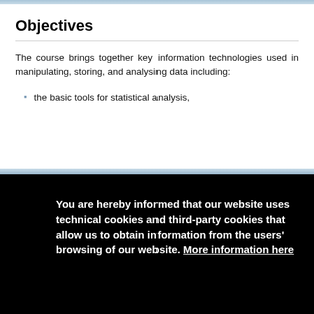Objectives
The course brings together key information technologies used in manipulating, storing, and analysing data including:
the basic tools for statistical analysis,
You are hereby informed that our website uses technical cookies and third-party cookies that allow us to obtain information from the users' browsing of our website. More information here